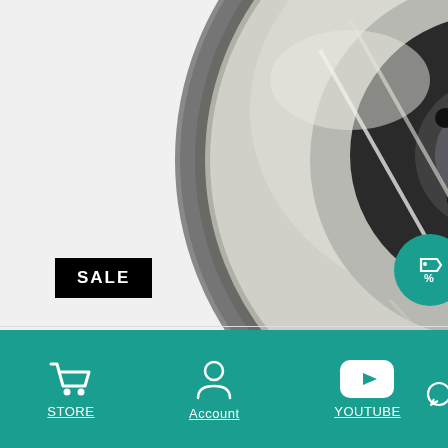[Figure (photo): A slotted brake rotor (StopTech) photographed against white background, showing the metallic disc with slots and black hub]
SALE
STOPTECH 2016 FORD FOCUS RS SLOTTED FRONT LEFT SPORT BRAKE ROTOR
$139.25  $125.33
STORE  Account  YOUTUBE